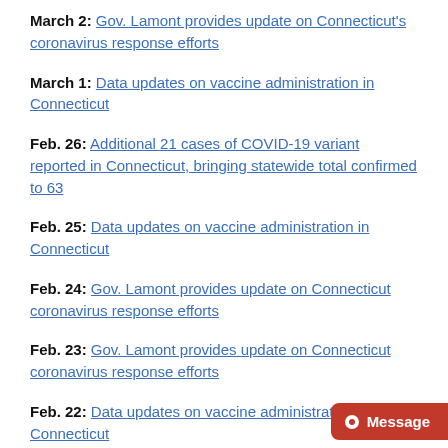March 2: Gov. Lamont provides update on Connecticut's coronavirus response efforts
March 1: Data updates on vaccine administration in Connecticut
Feb. 26: Additional 21 cases of COVID-19 variant reported in Connecticut, bringing statewide total confirmed to 63
Feb. 25: Data updates on vaccine administration in Connecticut
Feb. 24: Gov. Lamont provides update on Connecticut coronavirus response efforts
Feb. 23: Gov. Lamont provides update on Connecticut coronavirus response efforts
Feb. 22: Data updates on vaccine administration in Connecticut
Feb. 22: Gov. Lamont announces Connecticut will continue age-based approach to COVID-19 vaccine eligibility; educators and child care providers to have dedicated clinics in Marc...